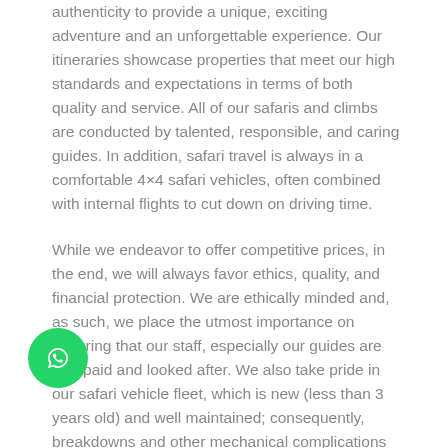authenticity to provide a unique, exciting adventure and an unforgettable experience. Our itineraries showcase properties that meet our high standards and expectations in terms of both quality and service. All of our safaris and climbs are conducted by talented, responsible, and caring guides. In addition, safari travel is always in a comfortable 4×4 safari vehicles, often combined with internal flights to cut down on driving time.
While we endeavor to offer competitive prices, in the end, we will always favor ethics, quality, and financial protection. We are ethically minded and, as such, we place the utmost importance on ensuring that our staff, especially our guides are well paid and looked after. We also take pride in our safari vehicle fleet, which is new (less than 3 years old) and well maintained; consequently, breakdowns and other mechanical complications while you are on safari will be rare. Importantly, Safarihub is one of the few tour companies in Africa to offer ABTA (Association of British Travel
[Figure (illustration): WhatsApp chat button icon — green circle with white phone/chat icon]